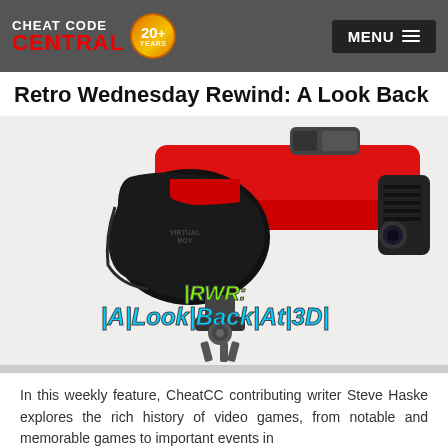Cheat Code Central 20+ Years | MENU
Retro Wednesday Rewind: A Look Back At 3D
[Figure (photo): Photo of a Virtual Boy gaming headset device in red and black, with overlaid stylized text reading 'RWR: A Look Back At 3D']
In this weekly feature, CheatCC contributing writer Steve Haske explores the rich history of video games, from notable and memorable games to important events in